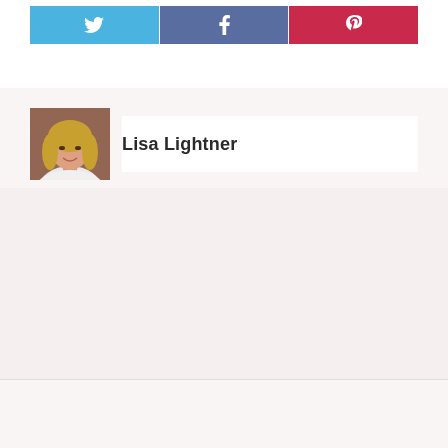[Figure (infographic): Three social sharing buttons: Twitter (blue bird icon), Facebook (blue F icon), Pinterest (red P icon), displayed as a horizontal row]
[Figure (photo): Headshot photo of Lisa Lightner, a woman with blonde hair, smiling, wearing white, with brick wall background]
Lisa Lightner